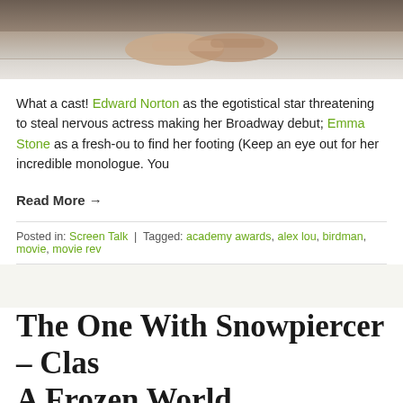[Figure (photo): Top portion of a photo showing hands resting on a surface, cropped at the top of the page]
What a cast! Edward Norton as the egotistical star threatening to steal nervous actress making her Broadway debut; Emma Stone as a fresh-ou to find her footing (Keep an eye out for her incredible monologue. You
Read More →
Posted in: Screen Talk | Tagged: academy awards, alex lou, birdman, movie, movie rev
The One With Snowpiercer – Clas A Frozen World